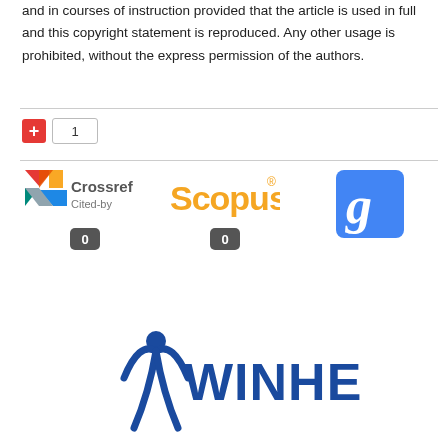and in courses of instruction provided that the article is used in full and this copyright statement is reproduced. Any other usage is prohibited, without the express permission of the authors.
[Figure (infographic): Plus button (red) with count box showing 1]
[Figure (logo): Crossref Cited-by logo with citation count 0]
[Figure (logo): Scopus logo with citation count 0]
[Figure (logo): Google Scholar logo (g icon, blue square)]
[Figure (logo): WINHEC logo with blue figure and text WINHEC]